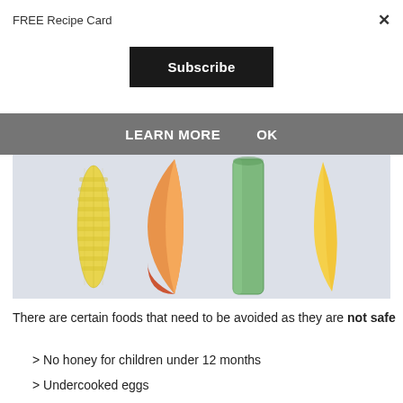FREE Recipe Card
×
Subscribe
LEARN MORE    OK
[Figure (photo): Four finger-food items laid out on a white surface: a baby corn cob, a peach/mango slice, a cucumber stick, and a mango strip]
There are certain foods that need to be avoided as they are not safe
> No honey for children under 12 months
> Undercooked eggs